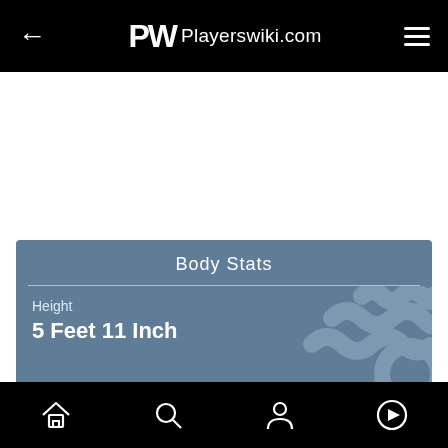Playerswiki.com
Body Stats
Height
5 Feet 11 Inch
|  |  |
| --- | --- |
| Personal Info |  |
| Date of Birth | 1995, April 28 |
| Age | 27 Years Old |
| Famous Name | Connor Clifton |
ADVERTISEMENT